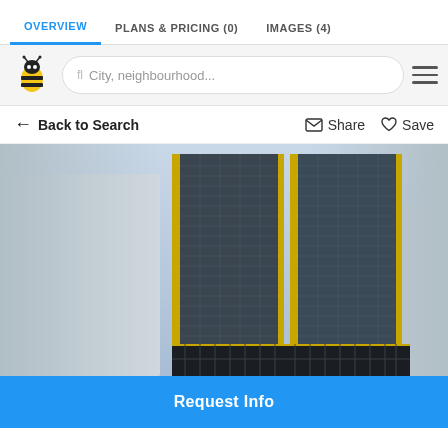OVERVIEW | PLANS & PRICING (0) | IMAGES (4)
[Figure (screenshot): Website navigation bar with bee logo and city/neighbourhood search input field and hamburger menu]
← Back to Search    ✉ Share  ♡ Save
[Figure (photo): Architectural rendering of two tall glass and steel skyscrapers viewed from below against a blue-grey sky, with gold/yellow accent trim on the building edges]
Request Info